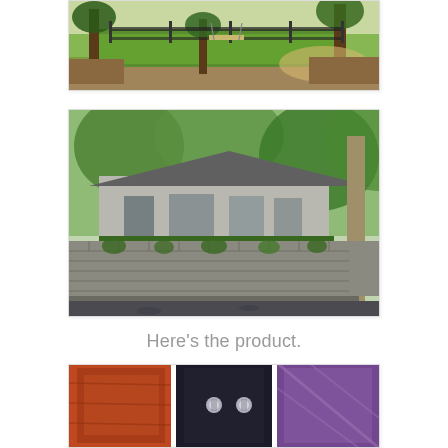[Figure (photo): Outdoor landscape photo showing green lawn, trees, a wooden fence, and a bench swing in a park or estate setting]
[Figure (photo): Exterior photo of a house with lush green trees and ivy-covered stone terrace/retaining wall with a gravel driveway in foreground]
Here's the product.
[Figure (photo): Triptych product photo showing three panels: left panel with reddish wooden frame, center panel with glass door hardware/knobs on dark background, right panel with purple/wood toned surface]